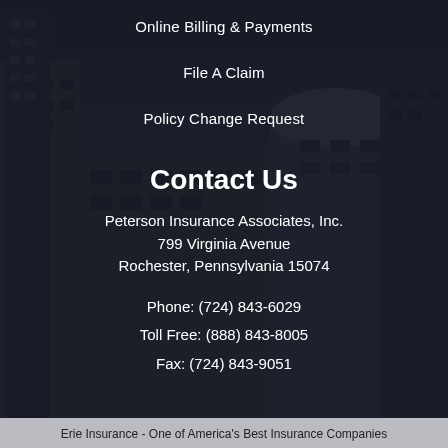Online Billing & Payments
File A Claim
Policy Change Request
Contact Us
Peterson Insurance Associates, Inc.
799 Virginia Avenue
Rochester, Pennsylvania 15074
Phone: (724) 843-6029
Toll Free: (888) 843-8005
Fax: (724) 843-9051
Erie Insurance - One of America's Best Insurance Companies